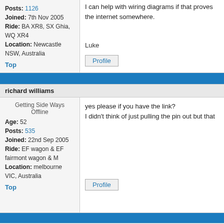I can help with wiring diagrams if that proves... the internet somewhere.
Posts: 1126
Joined: 7th Nov 2005
Ride: BA XR8, SX Ghia, WQ XR4
Location: Newcastle NSW, Australia
Luke
Top
Profile
richard williams
Getting Side Ways
Offline
Age: 52
Posts: 535
Joined: 22nd Sep 2005
Ride: EF wagon & EF fairmont wagon & M
Location: melbourne VIC, Australia
yes please if you have the link?
I didn't think of just pulling the pin out but that
Top
Profile
hell
Post subject: Re: Territory / BA/F High series ICC GPS o